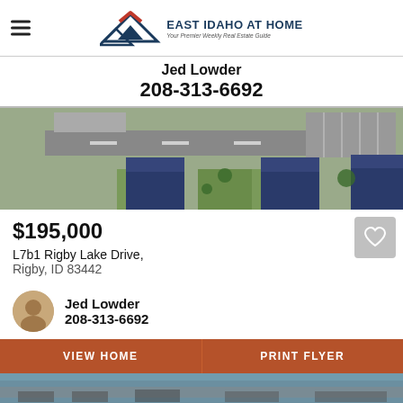East Idaho At Home — Your Premier Weekly Real Estate Guide
Jed Lowder
208-313-6692
[Figure (photo): Aerial drone photo showing a residential development with houses and parking lots]
$195,000
L7b1 Rigby Lake Drive, Rigby, ID 83442
Jed Lowder
208-313-6692
VIEW HOME
PRINT FLYER
[Figure (photo): Aerial photo of commercial/residential area at bottom of page]